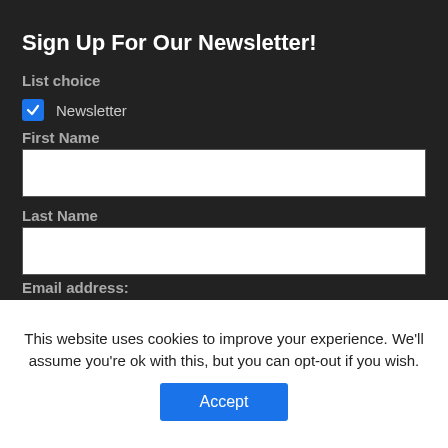Sign Up For Our Newsletter!
List choice
Newsletter (checked)
First Name
Last Name
Email address:
This website uses cookies to improve your experience. We'll assume you're ok with this, but you can opt-out if you wish.
Accept